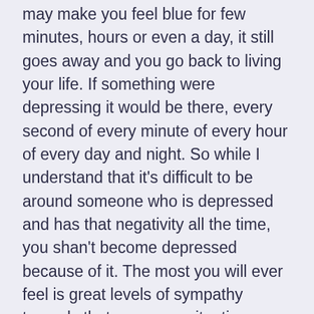may make you feel blue for few minutes, hours or even a day, it still goes away and you go back to living your life. If something were depressing it would be there, every second of every minute of every hour of every day and night. So while I understand that it's difficult to be around someone who is depressed and has that negativity all the time, you shan't become depressed because of it. The most you will ever feel is great levels of sympathy towards that person or situation which is often coupled with and therefore confused with levels of sadness as well.
But in today's world we cotton wool mental illness so much that people act as if we'll attract depression simply by saying the word. Think of it this way, the